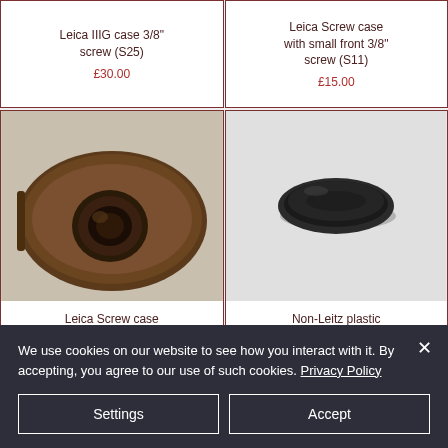Leica IIIG case 3/8" screw (S25)
£30.00
Leica Screw case with small front 3/8" screw (S11)
£15.00
[Figure (photo): Leather camera case with large front knob/screw, brown vintage leather, close-up view]
Leica Screw case with large front 3/8" screw (SO4)
[Figure (photo): Black oval plastic lens/body cap for Leica screw mount]
Non-Leitz plastic screw body cap
£3.00
We use cookies on our website to see how you interact with it. By accepting, you agree to our use of such cookies. Privacy Policy
Settings
Accept